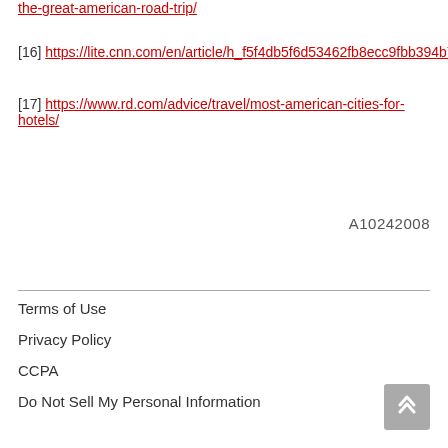the-great-american-road-trip/
[16] https://lite.cnn.com/en/article/h_f5f4db5f6d53462fb8ecc9fbb394b7…
[17] https://www.rd.com/advice/travel/most-american-cities-for-hotels/
A10242008
Terms of Use
Privacy Policy
CCPA
Do Not Sell My Personal Information